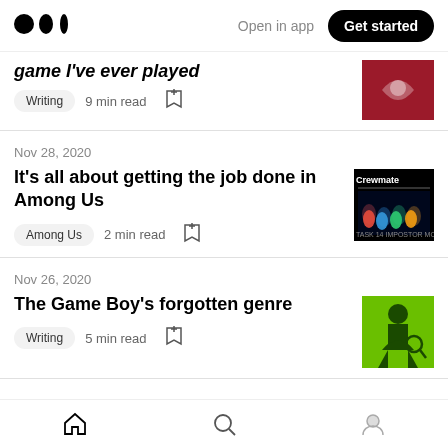Medium logo | Open in app | Get started
game I've ever played
Writing  9 min read
Nov 28, 2020
It's all about getting the job done in Among Us
Among Us  2 min read
Nov 26, 2020
The Game Boy's forgotten genre
Writing  5 min read